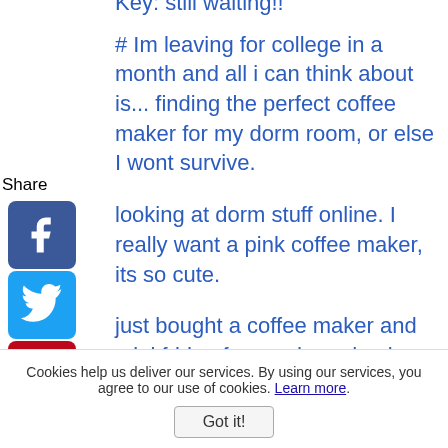Key: still waiting!!
# Im leaving for college in a month and all i can think about is... finding the perfect coffee maker for my dorm room, or else I wont survive.
looking at dorm stuff online. I really want a pink coffee maker, its so cute.
just bought a coffee maker and mini fridge for my dorm. heck yes!
ll so far I have a coffee maker, laptop, and mouse pad for my dorm. I'm making such
Share
Cookies help us deliver our services. By using our services, you agree to our use of cookies. Learn more.